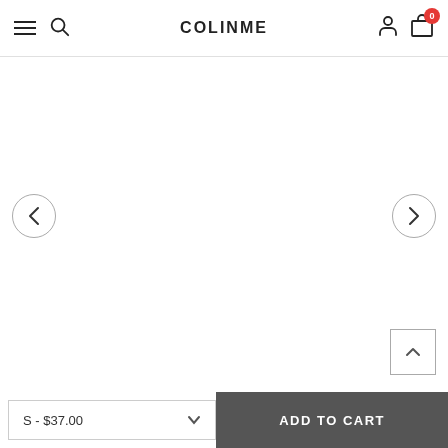COLINME — navigation bar with hamburger, search, brand name, user icon, cart (0)
[Figure (screenshot): Product image carousel area with left and right navigation arrows on a white background]
[Figure (screenshot): Back to top button — upward chevron inside a square border]
S - $37.00
ADD TO CART